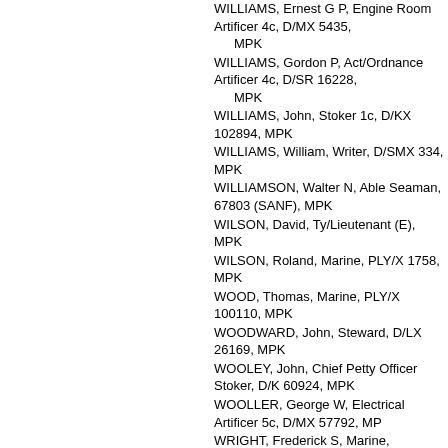WILLIAMS, Ernest G P, Engine Room Artificer 4c, D/MX 5435, MPK
WILLIAMS, Gordon P, Act/Ordnance Artificer 4c, D/SR 16228, MPK
WILLIAMS, John, Stoker 1c, D/KX 102894, MPK
WILLIAMS, William, Writer, D/SMX 334, MPK
WILLIAMSON, Walter N, Able Seaman, 67803 (SANF), MPK
WILSON, David, Ty/Lieutenant (E), MPK
WILSON, Roland, Marine, PLY/X 1758, MPK
WOOD, Thomas, Marine, PLY/X 100110, MPK
WOODWARD, John, Steward, D/LX 26169, MPK
WOOLEY, John, Chief Petty Officer Stoker, D/K 60924, MPK
WOOLLER, George W, Electrical Artificer 5c, D/MX 57792, MPK
WRIGHT, Frederick S, Marine, PLY/21651, MPK
WRIGHTSON, Cecil O, Chief Engine Room Artificer, D/MX 47, MPK
FAA, 700 Sqn, Glasgow, air crash
BAPTIE, David A, Ty/Sub Lieutenant (A), RNVR, killed
FAA, 788 Sqn, Lanka, air crash
BEALE, Anthony W D, Sub Lieutenant (A), killed
BOLTON, David A, Act/Leading Airman, FAA/FX 79396, killed
EDWARDS, Frederick H, Ty/Leading Airman, FAA/FX 77173, killed
HALL, John R, Petty Officer Airman, FAA/FX 76569, killed
SHAW, Charles T, Ty/Act/Sub Lieutenant (A), RNVR, killed
SKINGLEY, George E H, Naval Airman 1c, FAA/FX 79400, killed
FAA, 806 Sqn, Lanka, air operations
DIGGENS, Harold S, Ty/Sub Lieutenant (A), RNVR, killed